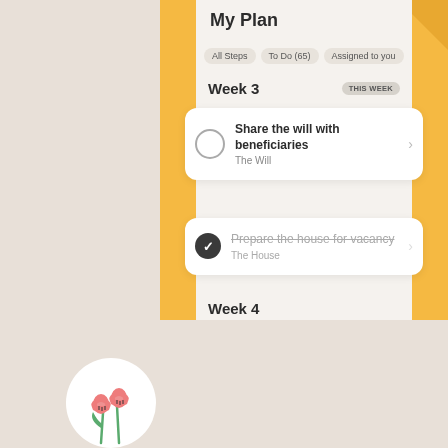[Figure (screenshot): Mobile app screenshot showing 'My Plan' task list UI with filter tabs (All Steps, To Do (65), Assigned to you), Week 3 section with THIS WEEK badge, two task cards: 'Share the will with beneficiaries' (The Will, unchecked) and 'Prepare the house for vacancy' (The House, checked/completed with strikethrough), and Week 4 section header. Orange sidebar decorations on left and right. Bottom shows a white circle with flower illustration on beige background.]